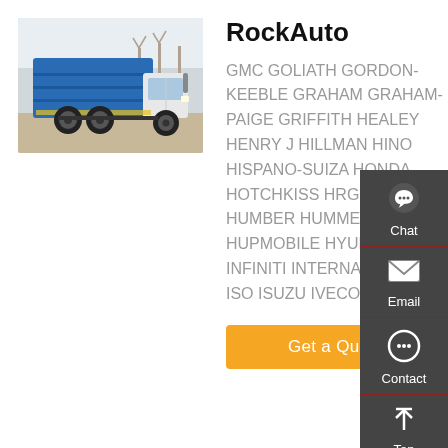[Figure (photo): Blue dump truck / tipper truck parked in a lot with buildings and bare trees in the background]
RockAuto
GMC GOLIATH GORDON-KEEBLE GRAHAM GRAHAM-PAIGE GRIFFITH HEALEY HENRY J HILLMAN HINO HISPANO-SUIZA HONDA HOTCHKISS HRG HUDSON HUMBER HUMMER HUPMOBILE HYUNDAI INFINITI INTERNATIONAL ISO ISUZU IVECO
Get a Quote